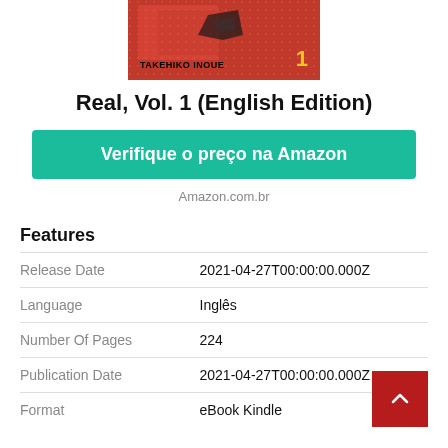[Figure (illustration): Book cover of Real Vol. 1 by Takehiko Inoue — red/orange background with decorative elements, author name 'TAKEHIKO INOUE' at bottom left and number '1' at bottom right]
Real, Vol. 1 (English Edition)
Verifique o preço na Amazon
Amazon.com.br
Features
| Release Date | 2021-04-27T00:00:00.000Z |
| Language | Inglês |
| Number Of Pages | 224 |
| Publication Date | 2021-04-27T00:00:00.000Z |
| Format | eBook Kindle |